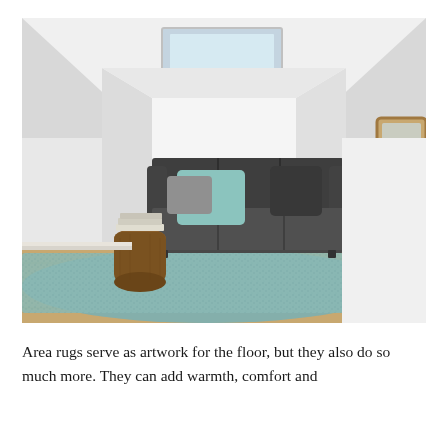[Figure (photo): A minimalist attic living room with a dark grey sofa against a white slanted wall, light blue/teal area rug on light wood floor, a small wooden stump side table with books, teal and grey throw pillows, and a skylight above. A wooden-framed mirror is partially visible on the right.]
Area rugs serve as artwork for the floor, but they also do so much more. They can add warmth, comfort and